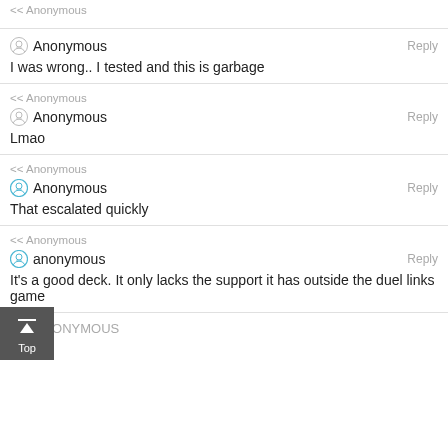<< Anonymous
Anonymous
Reply
I was wrong.. I tested and this is garbage
<< Anonymous
Anonymous
Reply
Lmao
<< Anonymous
Anonymous
Reply
That escalated quickly
<< Anonymous
anonymous
Reply
It's a good deck. It only lacks the support it has outside the duel links game
<< ANONYMOUS